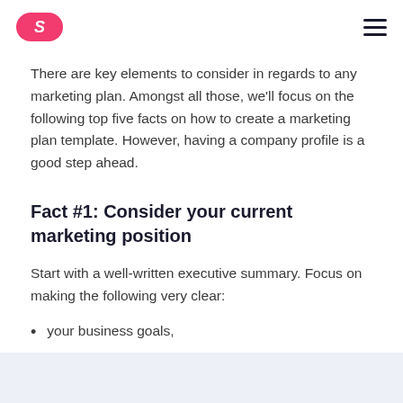S ☰
There are key elements to consider in regards to any marketing plan. Amongst all those, we'll focus on the following top five facts on how to create a marketing plan template. However, having a company profile is a good step ahead.
Fact #1: Consider your current marketing position
Start with a well-written executive summary. Focus on making the following very clear:
your business goals,